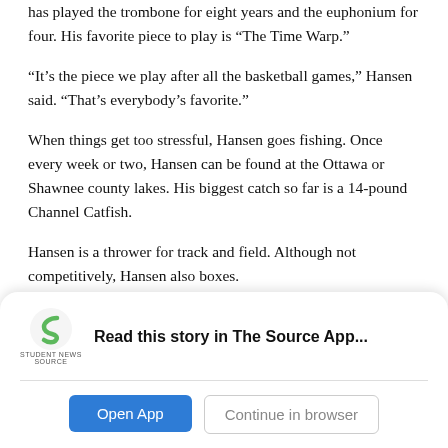has played the trombone for eight years and the euphonium for four. His favorite piece to play is “The Time Warp.”
“It’s the piece we play after all the basketball games,” Hansen said. “That’s everybody’s favorite.”
When things get too stressful, Hansen goes fishing. Once every week or two, Hansen can be found at the Ottawa or Shawnee county lakes. His biggest catch so far is a 14-pound Channel Catfish.
Hansen is a thrower for track and field. Although not competitively, Hansen also boxes.
[Figure (logo): Student News Source app logo - green S shape with 'STUDENT NEWS SOURCE' text below]
Read this story in The Source App...
Open App
Continue in browser